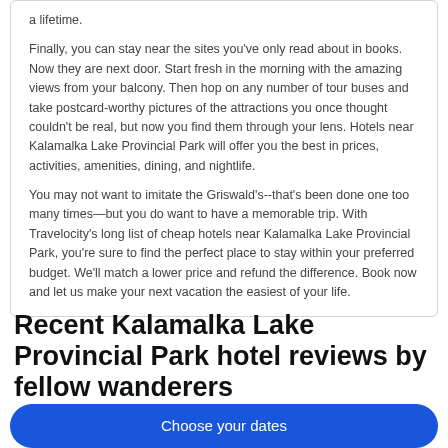a lifetime.
Finally, you can stay near the sites you've only read about in books. Now they are next door. Start fresh in the morning with the amazing views from your balcony. Then hop on any number of tour buses and take postcard-worthy pictures of the attractions you once thought couldn't be real, but now you find them through your lens. Hotels near Kalamalka Lake Provincial Park will offer you the best in prices, activities, amenities, dining, and nightlife.
You may not want to imitate the Griswald's--that's been done one too many times—but you do want to have a memorable trip. With Travelocity's long list of cheap hotels near Kalamalka Lake Provincial Park, you're sure to find the perfect place to stay within your preferred budget. We'll match a lower price and refund the difference. Book now and let us make your next vacation the easiest of your life.
Recent Kalamalka Lake Provincial Park hotel reviews by fellow wanderers
Choose your dates